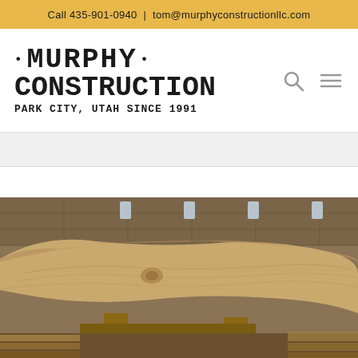Call 435-901-0940 | tom@murphyconstructionllc.com
[Figure (logo): Murphy Construction logo with bullet points, bold stencil-style font, Park City, Utah Since 1991]
[Figure (photo): Close-up photo of a natural live-edge wood slab being worked on in a construction workshop, showing wood grain and supports below]